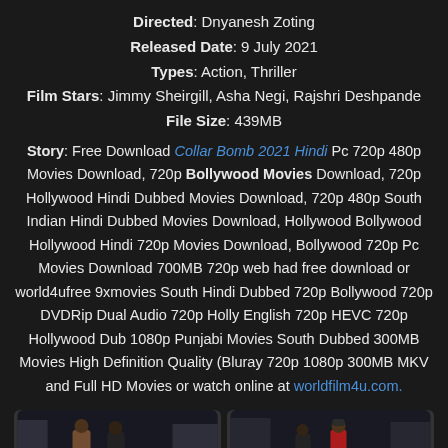Directed: Dnyanesh Zoting
Released Date: 9 July 2021
Types: Action, Thriller
Film Stars: Jimmy Sheirgill, Asha Negi, Rajshri Deshpande
File Size: 439MB
Story: Free Download Collar Bomb 2021 Hindi Pc 720p 480p Movies Download, 720p Bollywood Movies Download, 720p Hollywood Hindi Dubbed Movies Download, 720p 480p South Indian Hindi Dubbed Movies Download, Hollywood Bollywood Hollywood Hindi 720p Movies Download, Bollywood 720p Pc Movies Download 700MB 720p web had free download or world4ufree 9xmovies South Hindi Dubbed 720p Bollywood 720p DVDRip Dual Audio 720p Holly English 720p HEVC 720p Hollywood Dub 1080p Punjabi Movies South Dubbed 300MB Movies High Definition Quality (Bluray 720p 1080p 300MB MKV and Full HD Movies or watch online at worldfilm4u.com.
[Figure (photo): Two side-by-side movie stills from Collar Bomb 2021]